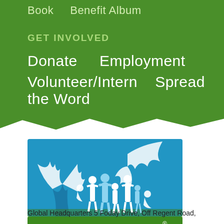Book    Benefit Album
GET INVOLVED
Donate    Employment
Volunteer/Intern    Spread the Word
[Figure (logo): Fambul Tok logo: blue rectangle with white silhouettes of people under a tree, green banner with white text 'Fambul Tok' and registered trademark symbol]
Global Headquarters 5 Foday Drive, Off Regent Road,